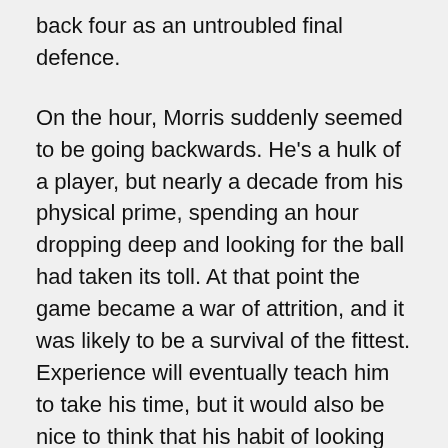back four as an untroubled final defence.
On the hour, Morris suddenly seemed to be going backwards. He's a hulk of a player, but nearly a decade from his physical prime, spending an hour dropping deep and looking for the ball had taken its toll. At that point the game became a war of attrition, and it was likely to be a survival of the fittest. Experience will eventually teach him to take his time, but it would also be nice to think that his habit of looking for the ball might be coached out of him.
Neither side really looked like they were going to win it at that point. Both teams were likely to get a chance or two, less through talent, more by virtue of the fact that eventually the ball is going to end up near one or the other goal. They bundled in their chance and Junior Brown headed ours over the Oxford Mail